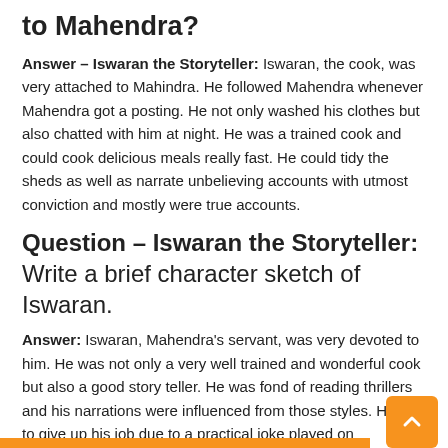to Mahendra?
Answer – Iswaran the Storyteller: Iswaran, the cook, was very attached to Mahindra. He followed Mahendra whenever Mahendra got a posting. He not only washed his clothes but also chatted with him at night. He was a trained cook and could cook delicious meals really fast. He could tidy the sheds as well as narrate unbelieving accounts with utmost conviction and mostly were true accounts.
Question – Iswaran the Storyteller: Write a brief character sketch of Iswaran.
Answer: Iswaran, Mahendra's servant, was very devoted to him. He was not only a very well trained and wonderful cook but also a good story teller. He was fond of reading thrillers and his narrations were influenced from those styles. He had to give up his job due to a practical joke played on Mahendra, his master. Life was not possible for Mahendra without him, as he was his asset, and he started living totally isolated.